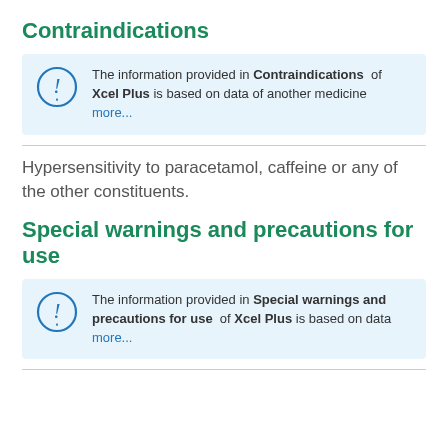Contraindications
The information provided in Contraindications of Xcel Plus is based on data of another medicine more...
Hypersensitivity to paracetamol, caffeine or any of the other constituents.
Special warnings and precautions for use
The information provided in Special warnings and precautions for use of Xcel Plus is based on data more...